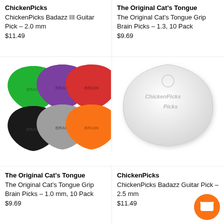ChickenPicks
ChickenPicks Badazz III Guitar Pick – 2.0 mm
$11.49
The Original Cat's Tongue
The Original Cat's Tongue Grip Brain Picks – 1.3, 10 Pack
$9.69
[Figure (photo): Six guitar picks in green, purple, red, black, gray, and orange colors arranged in a 3x2 grid, each with 'BRAIN' text embossed]
[Figure (photo): A white ChickenPicks triangular guitar pick with the ChickenPicks logo embossed on it]
The Original Cat's Tongue
The Original Cat's Tongue Grip Brain Picks – 1.0 mm, 10 Pack
$9.69
ChickenPicks
ChickenPicks Badazz Guitar Pick – 2.5 mm
$11.49